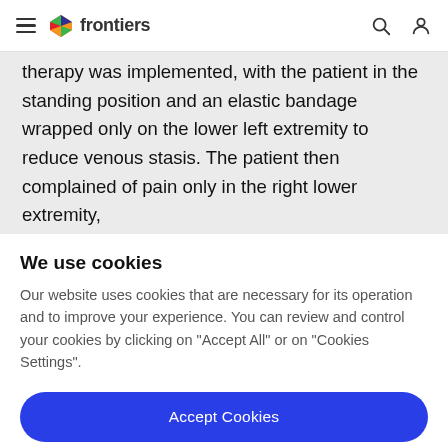frontiers
therapy was implemented, with the patient in the standing position and an elastic bandage wrapped only on the lower left extremity to reduce venous stasis. The patient then complained of pain only in the right lower extremity,
We use cookies
Our website uses cookies that are necessary for its operation and to improve your experience. You can review and control your cookies by clicking on "Accept All" or on "Cookies Settings".
Accept Cookies
Cookies Settings